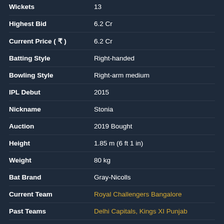| Field | Value |
| --- | --- |
| Wickets | 13 |
| Highest Bid | 6.2 Cr |
| Current Price ( ₹ ) | 6.2 Cr |
| Batting Style | Right-handed |
| Bowling Style | Right-arm medium |
| IPL Debut | 2015 |
| Nickname | Stonia |
| Auction | 2019 Bought |
| Height | 1.85 m (6 ft 1 in) |
| Weight | 80 kg |
| Bat Brand | Gray-Nicolls |
| Current Team | Royal Challengers Bangalore |
| Past Teams | Delhi Capitals, Kings XI Punjab |